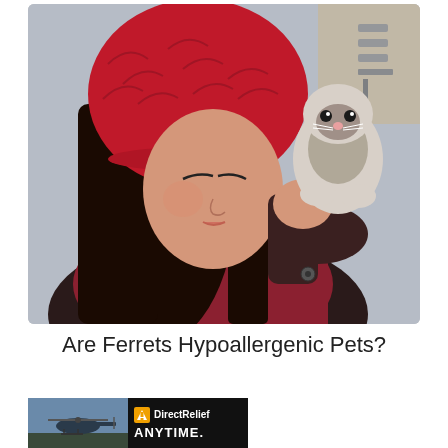[Figure (photo): A young woman with long dark hair wearing a red knit beanie hat holds a small ferret up to her face and nuzzles it. The ferret is white and grey. She wears a dark red patterned scarf. Background shows a door hinge or metal fixture.]
Are Ferrets Hypoallergenic Pets?
[Figure (photo): Advertisement banner showing a helicopter on the left side and a Direct Relief logo with text 'ANYTIME.' on a dark background on the right.]